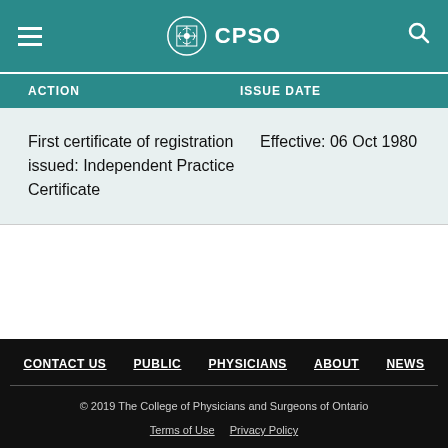CPSO
| ACTION | ISSUE DATE |
| --- | --- |
| First certificate of registration issued: Independent Practice Certificate | Effective: 06 Oct 1980 |
CONTACT US  PUBLIC  PHYSICIANS  ABOUT  NEWS
© 2019 The College of Physicians and Surgeons of Ontario
Terms of Use  Privacy Policy